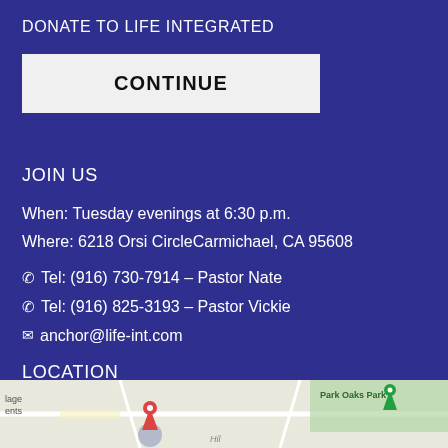DONATE TO LIFE INTEGRATED
CONTINUE
JOIN US
When: Tuesday evenings at 6:30 p.m.
Where: 6218 Orsi CircleCarmichael, CA 95608
Tel: (916) 730-7914 – Pastor Nate
Tel: (916) 825-3193 – Pastor Vickie
anchor@life-int.com
LOCATION
[Figure (map): Google Maps partial view showing location near Carmichael, CA with Park Oaks Park visible]